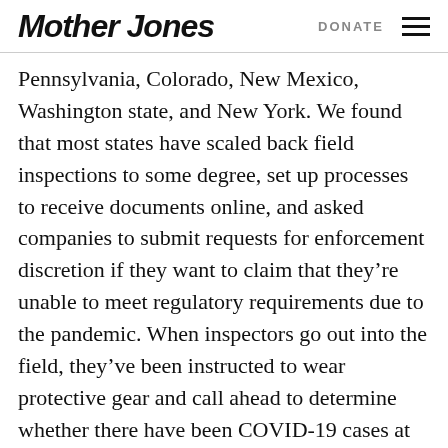Mother Jones | DONATE
Pennsylvania, Colorado, New Mexico, Washington state, and New York. We found that most states have scaled back field inspections to some degree, set up processes to receive documents online, and asked companies to submit requests for enforcement discretion if they want to claim that they’re unable to meet regulatory requirements due to the pandemic. When inspectors go out into the field, they’ve been instructed to wear protective gear and call ahead to determine whether there have been COVID-19 cases at the facilities they’re inspecting.
“The worst-case scenario for us would be if we have a full-on employee illness that’s related to this…